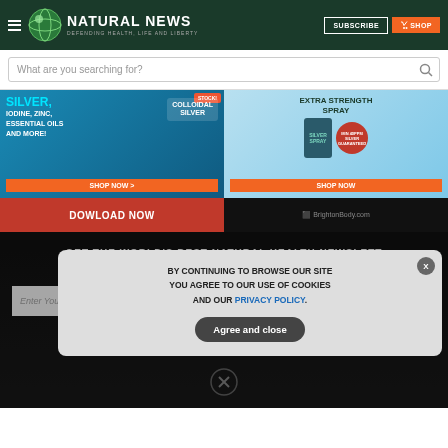NATURAL NEWS — DEFENDING HEALTH, LIFE AND LIBERTY
What are you searching for?
[Figure (advertisement): Two advertisement banners for colloidal silver products. Left: Silver, Iodine, Zinc, Essential Oils and More! Colloidal Silver - SHOP NOW. Right: Extra Strength Spray - Min 40PPM Silver Guaranteed - Made in USA - SHOP NOW.]
[Figure (advertisement): Two partial banners: left red banner says DOWNLOAD NOW, right dark banner shows BrightenBody.com]
GET THE WORLD'S BEST NATURAL HEALTH NEWSLETTER DELIVERED STRAIGHT TO YOUR INBOX
Enter Your Email Address
SUBSCRIBE
BY CONTINUING TO BROWSE OUR SITE YOU AGREE TO OUR USE OF COOKIES AND OUR PRIVACY POLICY.
Agree and close